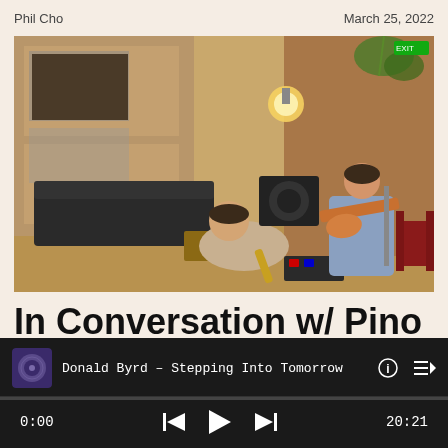Phil Cho | March 25, 2022
[Figure (photo): Two musicians in a recording studio. One person sits on the floor near a saxophone and audio equipment. Another sits on a chair playing an electric guitar. The room has wood-paneled walls, leather sofas, and hanging plants.]
In Conversation w/ Pino Palladino, Blake Mills, Sam
Donald Byrd – Stepping Into Tomorrow
0:00  20:21